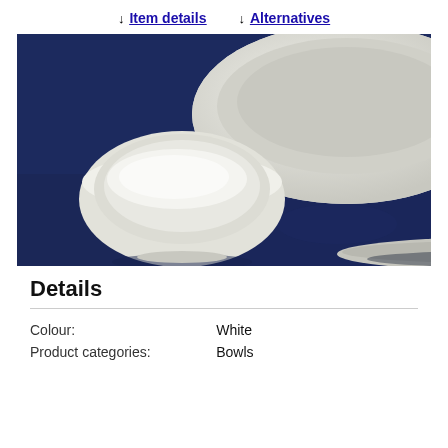↓ Item details   ↓ Alternatives
[Figure (photo): Two white ceramic bowls of different sizes on a dark navy blue fabric background. A smaller oval bowl is in the foreground/left, and a larger bowl is partially visible in the upper right.]
Details
| Colour: | White |
| Product categories: | Bowls |